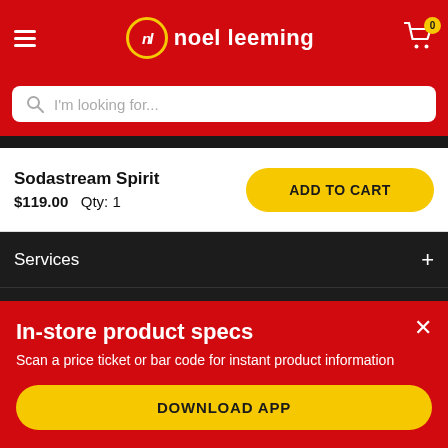[Figure (screenshot): Noel Leeming retail website header with hamburger menu, logo, and cart icon with badge showing 0]
[Figure (screenshot): Search bar with placeholder text 'I'm looking for...']
Sodastream Spirit $119.00   Qty: 1
ADD TO CART
Services
Corporate
In-store product specs
Scan a price ticket or bar code for instant product information
DOWNLOAD APP